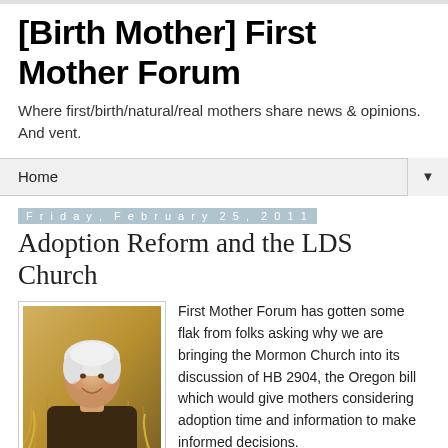[Birth Mother] First Mother Forum
Where first/birth/natural/real mothers share news & opinions. And vent.
Home ▼
Friday, February 25, 2011
Adoption Reform and the LDS Church
[Figure (photo): Portrait photo of an older woman with short white hair, smiling, wearing a dark brown jacket, standing in front of a golden wheat field background.]
First Mother Forum has gotten some flak from folks asking why we are bringing the Mormon Church into its discussion of HB 2904, the Oregon bill which would give mothers considering adoption time and information to make informed decisions.